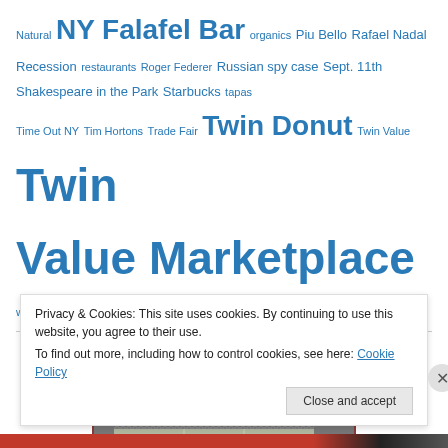Natural NY Falafel Bar organics Piu Bello Rafael Nadal Recession restaurants Roger Federer Russian spy case Sept. 11th Shakespeare in the Park Starbucks tapas Time Out NY Tim Hortons Trade Fair Twin Donut Twin Value Twin Value Marketplace water fight West Nile Virus WiFi
[Figure (photo): Black and white aerial photograph of a stadium filled with spectators, with a city skyline in the background.]
Privacy & Cookies: This site uses cookies. By continuing to use this website, you agree to their use. To find out more, including how to control cookies, see here: Cookie Policy